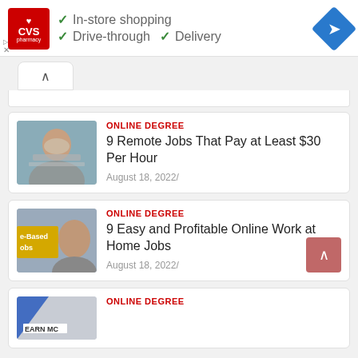[Figure (screenshot): CVS Pharmacy advertisement banner showing logo with checkmarks for In-store shopping, Drive-through, and Delivery services, with a Google Maps navigation icon]
[Figure (screenshot): Collapsed web widget toggle tab with up chevron arrow]
ONLINE DEGREE
9 Remote Jobs That Pay at Least $30 Per Hour
August 18, 2022/
ONLINE DEGREE
9 Easy and Profitable Online Work at Home Jobs
August 18, 2022/
ONLINE DEGREE